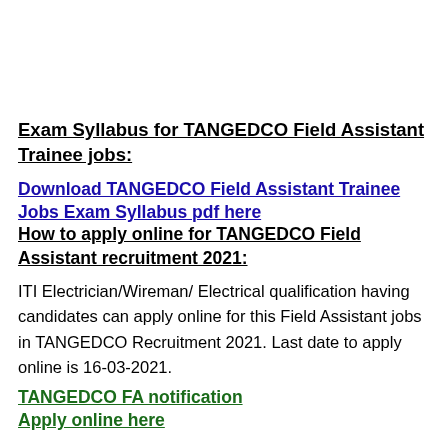Exam Syllabus for TANGEDCO Field Assistant Trainee jobs:
Download TANGEDCO Field Assistant Trainee Jobs Exam Syllabus pdf here
How to apply online for TANGEDCO Field Assistant recruitment 2021:
ITI Electrician/Wireman/ Electrical qualification having candidates can apply online for this Field Assistant jobs in TANGEDCO Recruitment 2021. Last date to apply online is 16-03-2021.
TANGEDCO FA notification
Apply online here